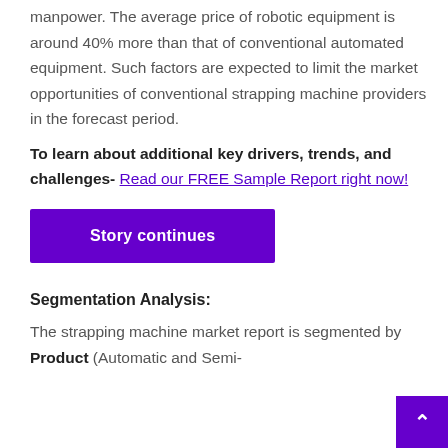manpower. The average price of robotic equipment is around 40% more than that of conventional automated equipment. Such factors are expected to limit the market opportunities of conventional strapping machine providers in the forecast period.
To learn about additional key drivers, trends, and challenges- Read our FREE Sample Report right now!
Story continues
Segmentation Analysis:
The strapping machine market report is segmented by Product (Automatic and Semi-